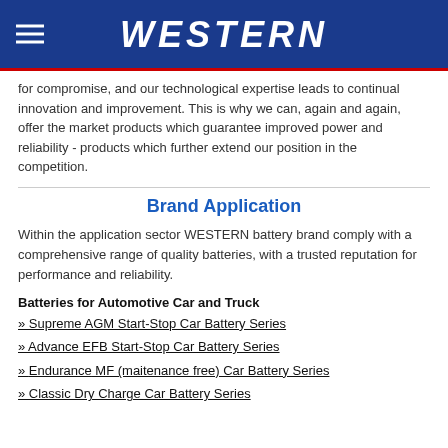WESTERN
for compromise, and our technological expertise leads to continual innovation and improvement. This is why we can, again and again, offer the market products which guarantee improved power and reliability - products which further extend our position in the competition.
Brand Application
Within the application sector WESTERN battery brand comply with a comprehensive range of quality batteries, with a trusted reputation for performance and reliability.
Batteries for Automotive Car and Truck
» Supreme AGM Start-Stop Car Battery Series
» Advance EFB Start-Stop Car Battery Series
» Endurance MF (maitenance free) Car Battery Series
» Classic Dry Charge Car Battery Series